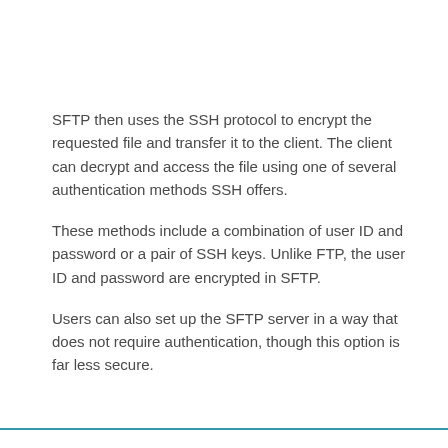SFTP then uses the SSH protocol to encrypt the requested file and transfer it to the client. The client can decrypt and access the file using one of several authentication methods SSH offers.
These methods include a combination of user ID and password or a pair of SSH keys. Unlike FTP, the user ID and password are encrypted in SFTP.
Users can also set up the SFTP server in a way that does not require authentication, though this option is far less secure.